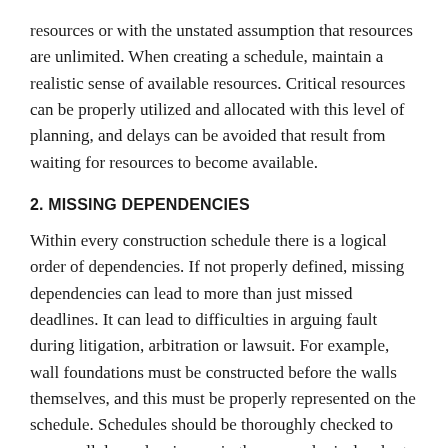resources or with the unstated assumption that resources are unlimited. When creating a schedule, maintain a realistic sense of available resources. Critical resources can be properly utilized and allocated with this level of planning, and delays can be avoided that result from waiting for resources to become available.
2. MISSING DEPENDENCIES
Within every construction schedule there is a logical order of dependencies. If not properly defined, missing dependencies can lead to more than just missed deadlines. It can lead to difficulties in arguing fault during litigation, arbitration or lawsuit. For example, wall foundations must be constructed before the walls themselves, and this must be properly represented on the schedule. Schedules should be thoroughly checked to ensure all dependencies are in the proper logical order to avoid delays.
3. NOT ENOUGH DETAILS